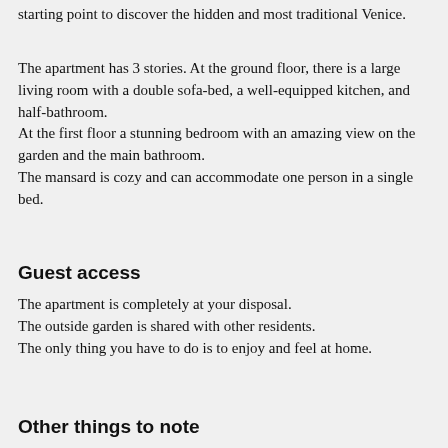starting point to discover the hidden and most traditional Venice.
The apartment has 3 stories. At the ground floor, there is a large living room with a double sofa-bed, a well-equipped kitchen, and half-bathroom.
At the first floor a stunning bedroom with an amazing view on the garden and the main bathroom.
The mansard is cozy and can accommodate one person in a single bed.
Guest access
The apartment is completely at your disposal.
The outside garden is shared with other residents.
The only thing you have to do is to enjoy and feel at home.
Other things to note